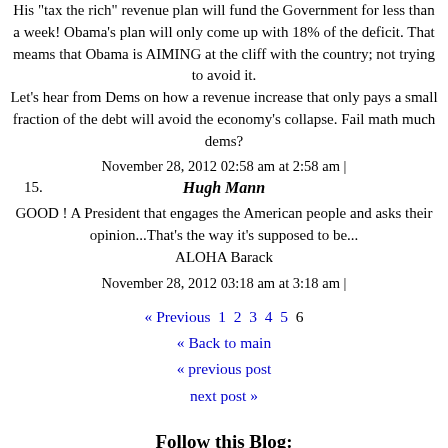His "tax the rich" revenue plan will fund the Government for less than a week! Obama's plan will only come up with 18% of the deficit. That meams that Obama is AIMING at the cliff with the country; not trying to avoid it. Let's hear from Dems on how a revenue increase that only pays a small fraction of the debt will avoid the economy's collapse. Fail math much dems?
November 28, 2012 02:58 am at 2:58 am |
15. Hugh Mann
GOOD ! A President that engages the American people and asks their opinion...That's the way it's supposed to be... ALOHA Barack
November 28, 2012 03:18 am at 3:18 am |
« Previous 1 2 3 4 5 6 « Back to main « previous post next post »
Follow this Blog:
Twitter